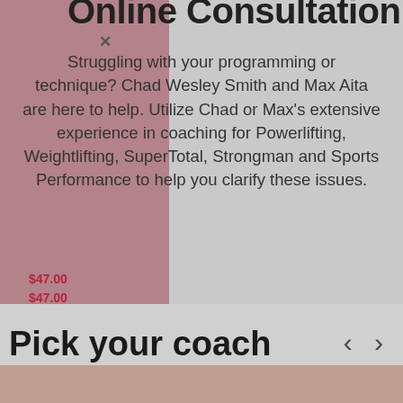Online Consultation
Struggling with your programming or technique? Chad Wesley Smith and Max Aita are here to help. Utilize Chad or Max's extensive experience in coaching for Powerlifting, Weightlifting, SuperTotal, Strongman and Sports Performance to help you clarify these issues.
Book Now
$47.00
$47.00
Pick your coach